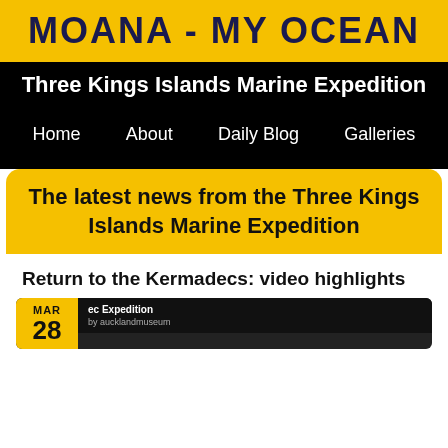MOANA - MY OCEAN
Three Kings Islands Marine Expedition
Home   About   Daily Blog   Galleries
The latest news from the Three Kings Islands Marine Expedition
Return to the Kermadecs: video highlights
[Figure (screenshot): Video thumbnail with date MAR 28, showing 'ec Expedition by aucklandmuseum' text on dark background]